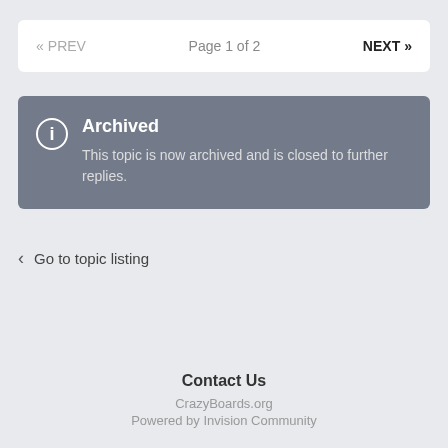« PREV   Page 1 of 2   NEXT »
Archived
This topic is now archived and is closed to further replies.
< Go to topic listing
Contact Us
CrazyBoards.org
Powered by Invision Community